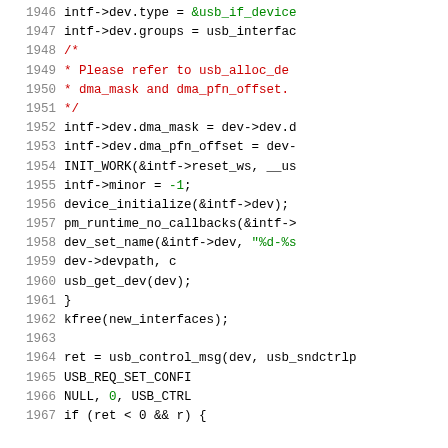[Figure (screenshot): Source code listing showing C code lines 1946-1967, syntax highlighted with line numbers on the left. Comment text in red, string literals in green, regular code in black.]